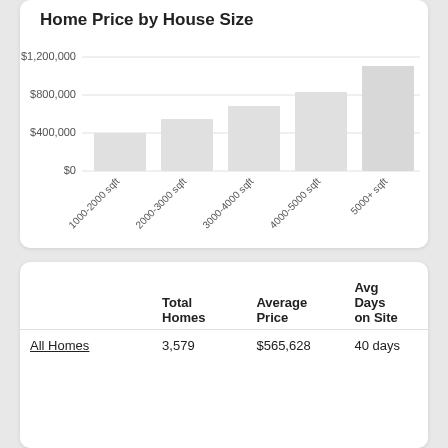[Figure (bar-chart): Home Price by House Size]
|  | Total Homes | Average Price | Avg Days on Site |
| --- | --- | --- | --- |
| All Homes | 3,579 | $565,628 | 40 days |